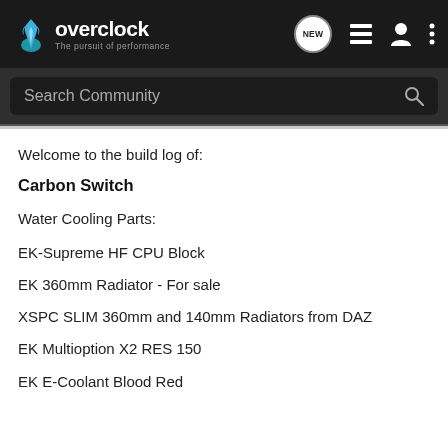overclock — The pursuit of performance
Search Community
Welcome to the build log of:
Carbon Switch
Water Cooling Parts:
EK-Supreme HF CPU Block
EK 360mm Radiator - For sale
XSPC SLIM 360mm and 140mm Radiators from DAZ
EK Multioption X2 RES 150
EK E-Coolant Blood Red